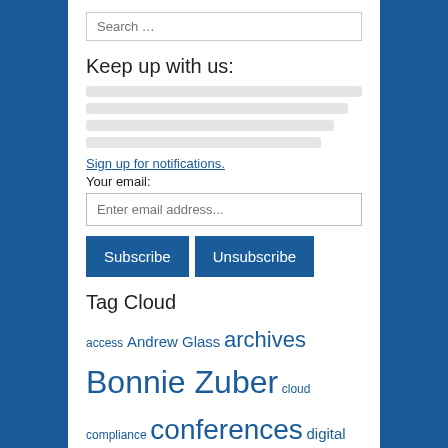Search …
Keep up with us:
[blurred/redacted social media links]
Sign up for notifications.
Your email:
Enter email address...
Subscribe | Unsubscribe
Tag Cloud
access Andrew Glass archives Bonnie Zuber cloud compliance conferences digital preservation disaster preparedness disaster disposition electronic records